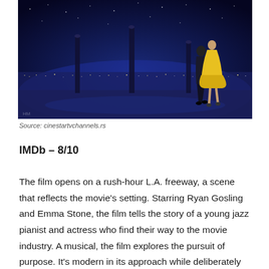[Figure (photo): Movie still from La La Land showing two people dancing on a rooftop at night with a city skyline lit up in blue/purple in the background. A woman in a yellow dress and a man in a suit are visible.]
Source: cinestartvchannels.rs
IMDb – 8/10
The film opens on a rush-hour L.A. freeway, a scene that reflects the movie's setting. Starring Ryan Gosling and Emma Stone, the film tells the story of a young jazz pianist and actress who find their way to the movie industry. A musical, the film explores the pursuit of purpose. It's modern in its approach while deliberately connecting to the past. Despite its quirky premise, the film is a must-see despite its dated themes. So, if you live in Mexico or in any region that is outside the USA and want to watch La la land on Hulu,  get